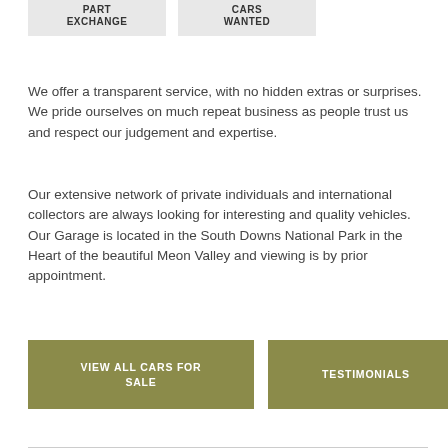PART
EXCHANGE
CARS
WANTED
We offer a transparent service, with no hidden extras or surprises. We pride ourselves on much repeat business as people trust us and respect our judgement and expertise.
Our extensive network of private individuals and international collectors are always looking for interesting and quality vehicles. Our Garage is located in the South Downs National Park in the Heart of the beautiful Meon Valley and viewing is by prior appointment.
VIEW ALL CARS FOR SALE
TESTIMONIALS